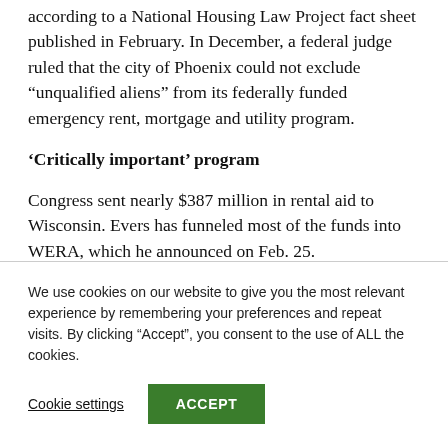according to a National Housing Law Project fact sheet published in February. In December, a federal judge ruled that the city of Phoenix could not exclude “unqualified aliens” from its federally funded emergency rent, mortgage and utility program.
‘Critically important’ program
Congress sent nearly $387 million in rental aid to Wisconsin. Evers has funneled most of the funds into WERA, which he announced on Feb. 25.
We use cookies on our website to give you the most relevant experience by remembering your preferences and repeat visits. By clicking “Accept”, you consent to the use of ALL the cookies.